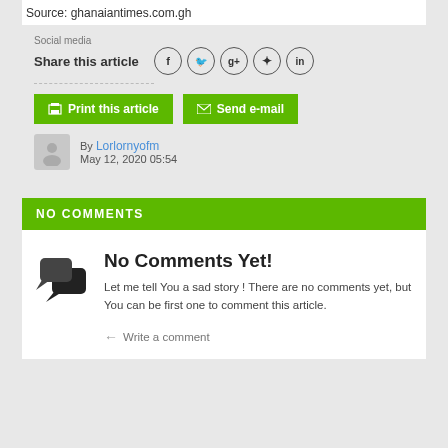Source: ghanaiantimes.com.gh
[Figure (infographic): Social media share box with Facebook, Twitter, Google+, Pinterest, LinkedIn icons, Print this article and Send e-mail buttons, and author info by Lorlornyofm May 12, 2020 05:54]
NO COMMENTS
[Figure (illustration): Chat/comments icon (two overlapping speech bubbles)]
No Comments Yet!
Let me tell You a sad story ! There are no comments yet, but You can be first one to comment this article.
Write a comment